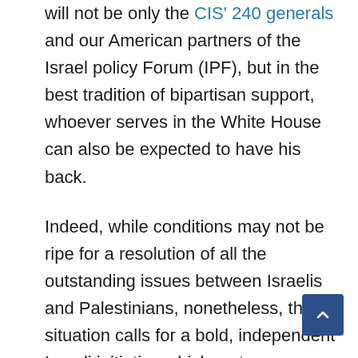will not be only the CIS' 240 generals and our American partners of the Israel policy Forum (IPF), but in the best tradition of bipartisan support, whoever serves in the White House can also be expected to have his back.
Indeed, while conditions may not be ripe for a resolution of all the outstanding issues between Israelis and Palestinians, nonetheless, the situation calls for a bold, independent Israeli initiative which restores credibility to the prime minister's commitment to a